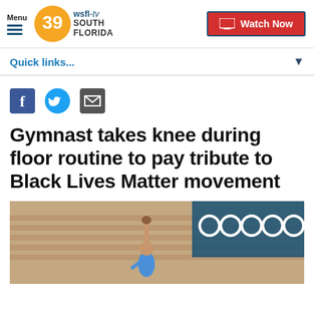Menu | 39 wsfl-tv SOUTH FLORIDA | Watch Now
Quick links...
[Figure (other): Social sharing icons: Facebook, Twitter, Email]
Gymnast takes knee during floor routine to pay tribute to Black Lives Matter movement
[Figure (photo): A gymnast in a blue leotard raises a fist with Olympic rings visible in the background bleachers]